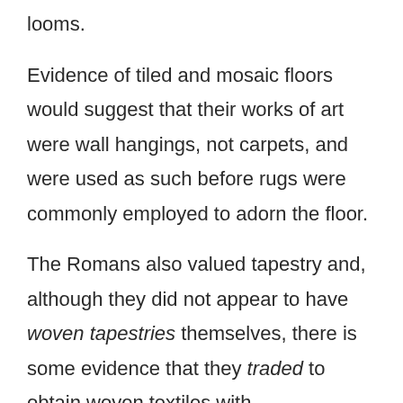looms.
Evidence of tiled and mosaic floors would suggest that their works of art were wall hangings, not carpets, and were used as such before rugs were commonly employed to adorn the floor.
The Romans also valued tapestry and, although they did not appear to have woven tapestries themselves, there is some evidence that they traded to obtain woven textiles with